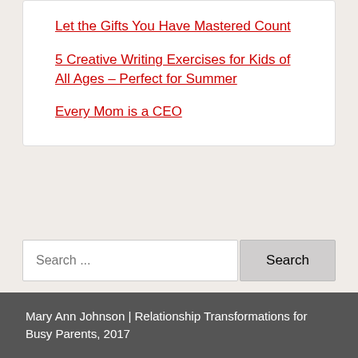Let the Gifts You Have Mastered Count
5 Creative Writing Exercises for Kids of All Ages – Perfect for Summer
Every Mom is a CEO
Search ...
Mary Ann Johnson | Relationship Transformations for Busy Parents, 2017